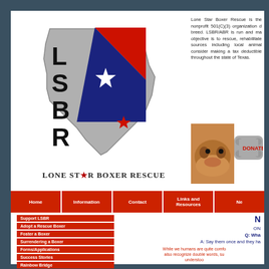[Figure (logo): Lone Star Boxer Rescue logo: Texas state outline in gray with red, white and blue diagonal band (Texas flag style), white star, red star, and large letters L, S, B, R. Below logo text reads LONE STAR BOXER RESCUE with a star replacing the A in STAR.]
Lone Star Boxer Rescue is the nonprofit 501(C)(3) organization d... breed. LSBR/ABR is run and ma... objective is to rescue, rehabilitate... sources including local animal... consider making a tax deductible... throughout the state of Texas.
[Figure (photo): Photo of a brown boxer puppy lying down looking at camera, with a gray bone-shaped donate button partially visible to the right.]
Home | Information | Contact | Links and Resources | Ne...
Support LSBR
Adopt a Rescue Boxer
Foster a Boxer
Surrendering a Boxer
Forms/Applications
Success Stories
Rainbow Bridge
My Rescue
N
ON
Q: Wha
A: Say them once and they ha
While we humans are quite comfo also recognize double words, su understoo...